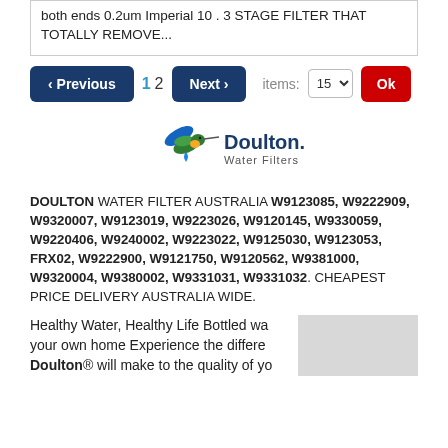both ends  0.2um Imperial 10 . 3 STAGE FILTER THAT  TOTALLY REMOVE...
‹ Previous  1 2  Next ›  items: 15  Ok
[Figure (logo): Doulton Water Filters logo with hummingbird and water drop]
DOULTON WATER FILTER AUSTRALIA W9123085, W9222909, W9320007, W9123019, W9223026, W9120145, W9330059, W9220406, W9240002, W9223022, W9125030, W9123053, FRX02, W9222900, W9121750, W9120562, W9381000, W9320004, W9380002, W9331031, W9331032. CHEAPEST PRICE DELIVERY AUSTRALIA WIDE.
Healthy Water, Healthy Life Bottled wa... your own home Experience the differe... Doulton® will make to the quality of yo...